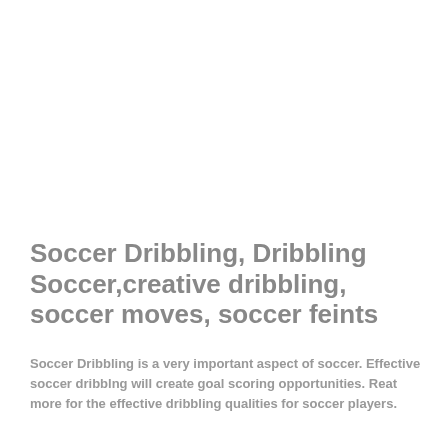Soccer Dribbling, Dribbling Soccer,creative dribbling, soccer moves, soccer feints
Soccer Dribbling is a very important aspect of soccer. Effective soccer dribblng will create goal scoring opportunities. Reat more for the effective dribbling qualities for soccer players.
In soccer, a flashy dribbler always seems to draw the attention of spectators. That’s because an effective dribbler who is willing to take risks often creates goal scoring